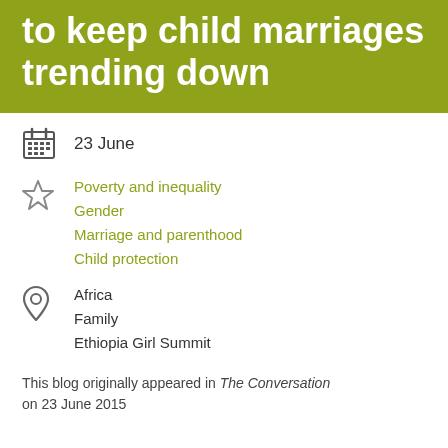to keep child marriages trending down
23 June
Poverty and inequality
Gender
Marriage and parenthood
Child protection
Africa
Family
Ethiopia Girl Summit
This blog originally appeared in The Conversation on 23 June 2015